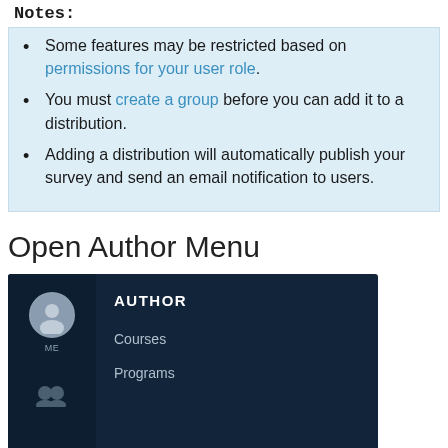Notes:
Some features may be restricted based on permissions for your user role.
You must create a group before you can add it to a distribution.
Adding a distribution will automatically publish your survey and send an email notification to users.
Open Author Menu
[Figure (screenshot): Screenshot of a dark-themed Author Menu UI showing a left panel with a user avatar labeled ME and a group icon, and a right panel with menu items: AUTHOR (bold heading), Courses, Programs]